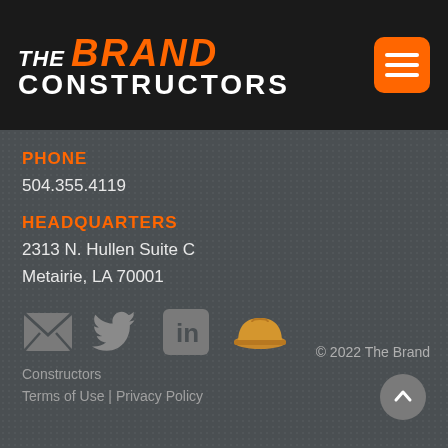[Figure (logo): The Brand Constructors logo: white italic THE, orange bold italic BRAND, white bold CONSTRUCTORS on black background]
PHONE
504.355.4119
HEADQUARTERS
2313 N. Hullen Suite C
Metairie, LA 70001
[Figure (infographic): Social media icons row: envelope (email), Twitter bird, LinkedIn 'in' box, construction hard hat icon]
© 2022 The Brand
Constructors
Terms of Use | Privacy Policy